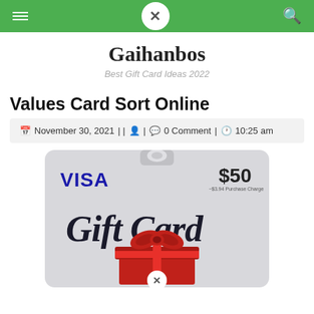Gaihanbos navigation bar
Gaihanbos
Best Gift Card Ideas 2022
Values Card Sort Online
November 30, 2021 | | | 0 Comment | 10:25 am
[Figure (photo): Visa $50 Gift Card with red bow gift box, showing '$50' and '~$3.94 Purchase Charge' text, Gift Card written in script]